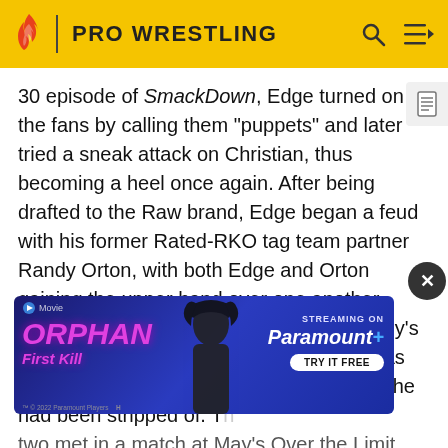PRO WRESTLING
30 episode of SmackDown, Edge turned on the fans by calling them "puppets" and later tried a sneak attack on Christian, thus becoming a heel once again. After being drafted to the Raw brand, Edge began a feud with his former Rated-RKO tag team partner Randy Orton, with both Edge and Orton gaining the upper hand over one another. Much of the antagonism stemmed of Randy's refusal to re-form Rated-RKO with Edge, as Edge wanted to pursue the tag team titles he had been stripped of. The two met in a match at May's Over the Limit pay-per-view, with th...atal 4-Way, Ed...hat include...WE Championship, though Edge failed to win the title.
[Figure (screenshot): Advertisement overlay for Orphan First Kill movie streaming on Paramount+]